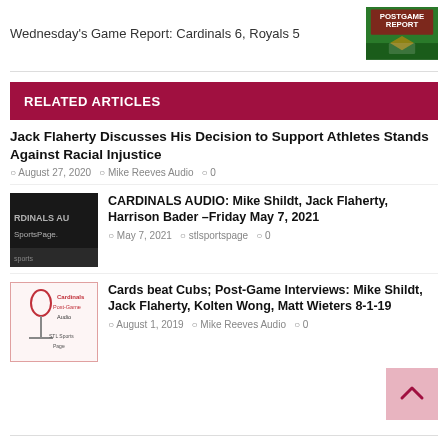Wednesday's Game Report: Cardinals 6, Royals 5
RELATED ARTICLES
Jack Flaherty Discusses His Decision to Support Athletes Stands Against Racial Injustice
August 27, 2020  Mike Reeves Audio  0
[Figure (screenshot): Cardinals Audio thumbnail with STL Sports Page branding on dark background]
CARDINALS AUDIO: Mike Shildt, Jack Flaherty, Harrison Bader –Friday May 7, 2021
May 7, 2021  stlsportspage  0
[Figure (screenshot): Cardinals Post-Game Audio logo with microphone and STL Sports Page branding]
Cards beat Cubs; Post-Game Interviews: Mike Shildt, Jack Flaherty, Kolten Wong, Matt Wieters 8-1-19
August 1, 2019  Mike Reeves Audio  0